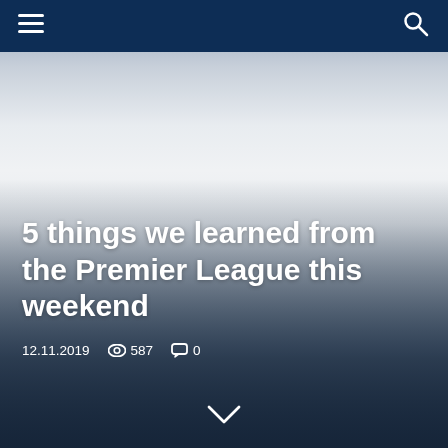Navigation bar with hamburger menu and search icon
[Figure (photo): Hero image with gradient from light grey/white in the center to dark navy at the bottom, overlaid with article title and metadata]
5 things we learned from the Premier League this weekend
12.11.2019   587   0